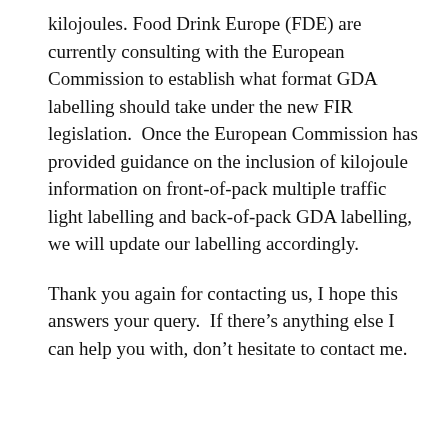kilojoules. Food Drink Europe (FDE) are currently consulting with the European Commission to establish what format GDA labelling should take under the new FIR legislation.  Once the European Commission has provided guidance on the inclusion of kilojoule information on front-of-pack multiple traffic light labelling and back-of-pack GDA labelling, we will update our labelling accordingly.
Thank you again for contacting us, I hope this answers your query.  If there’s anything else I can help you with, don’t hesitate to contact me.